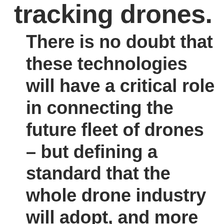tracking drones.
There is no doubt that these technologies will have a critical role in connecting the future fleet of drones – but defining a standard that the whole drone industry will adopt, and more importantly somehow driving that visibility into the manned aircraft cockpit